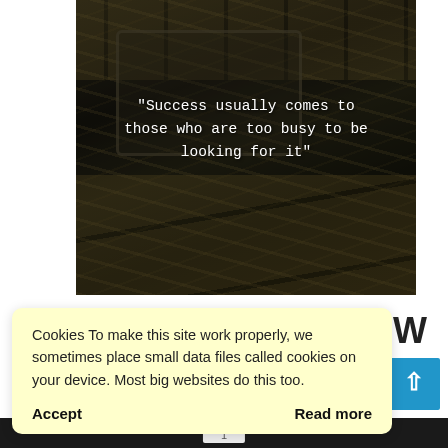[Figure (photo): Dark photo of an open briefcase/suitcase overflowing with stacks of US dollar bills, with more loose bills scattered around it. A motivational quote is overlaid in white monospace text on the image.]
"Success usually comes to those who are too busy to be looking for it"
OW
Cookies To make this site work properly, we sometimes place small data files called cookies on your device. Most big websites do this too.
Accept
Read more